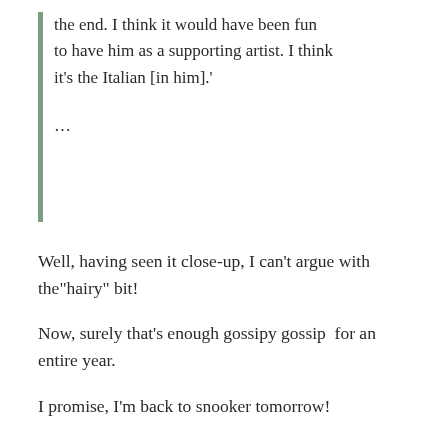the end. I think it would have been fun to have him as a supporting artist. I think it’s the Italian [in him].’
…
Well, having seen it close-up, I can’t argue with the“hairy” bit!
Now, surely that’s enough gossipy gossip  for an entire year.
I promise, I’m back to snooker tomorrow!